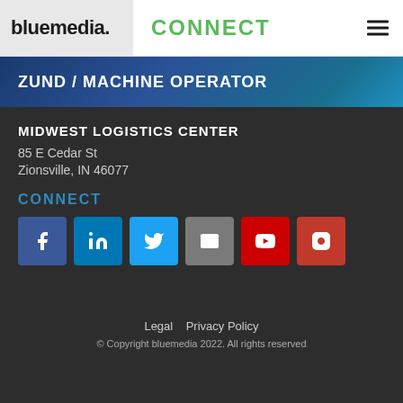bluemedia. CONNECT ≡
ZUND / MACHINE OPERATOR
MIDWEST LOGISTICS CENTER
85 E Cedar St
Zionsville, IN 46077
CONNECT
[Figure (infographic): Row of 6 social media icon buttons: Facebook (blue), LinkedIn (blue), Twitter (light blue), Email (gray), YouTube (red), Instagram (red/pink)]
Legal   Privacy Policy
© Copyright bluemedia 2022. All rights reserved